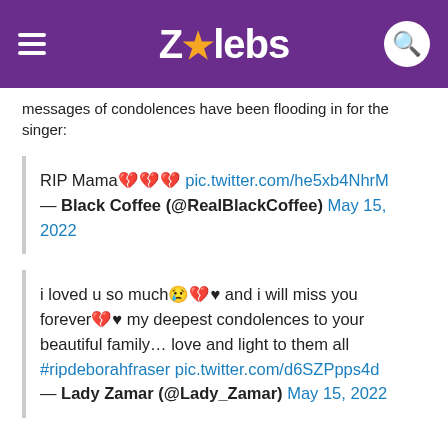ZAlebs
Messages of condolences have been flooding in for the singer:
RIP Mama💔💔💔 pic.twitter.com/he5xb4NhrM — Black Coffee (@RealBlackCoffee) May 15, 2022
i loved u so much😢💔♥ and i will miss you forever💔♥ my deepest condolences to your beautiful family… love and light to them all #ripdeborahfraser pic.twitter.com/d6SZPpps4d — Lady Zamar (@Lady_Zamar) May 15, 2022